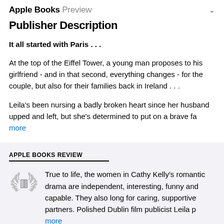Apple Books Preview
Publisher Description
It all started with Paris . . .
At the top of the Eiffel Tower, a young man proposes to his girlfriend - and in that second, everything changes - for the couple, but also for their families back in Ireland . . .
Leila's been nursing a badly broken heart since her husband upped and left, but she's determined to put on a brave fa more
APPLE BOOKS REVIEW
True to life, the women in Cathy Kelly's romantic drama are independent, interesting, funny and capable. They also long for caring, supportive partners. Polished Dublin film publicist Leila p more